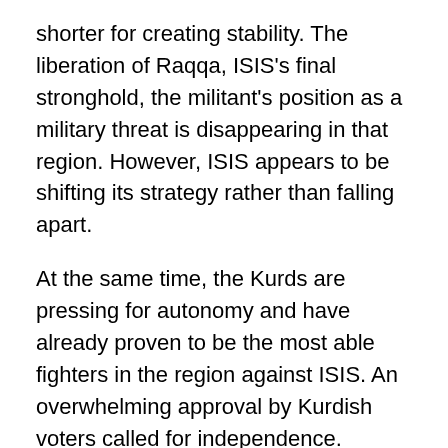shorter for creating stability. The liberation of Raqqa, ISIS's final stronghold, the militant's position as a military threat is disappearing in that region. However, ISIS appears to be shifting its strategy rather than falling apart.
At the same time, the Kurds are pressing for autonomy and have already proven to be the most able fighters in the region against ISIS. An overwhelming approval by Kurdish voters called for independence. Confrontation is highly possible.
At this point, Iran and Russia have expanded their influence throughout the region. These two powers have supplied the power and arms that have kept Assad in control.  In the midst of these conflicts, Iraq's Shiite government has done virtually nothing to integrate the Sunnis. The festering problem of mistreatment of the